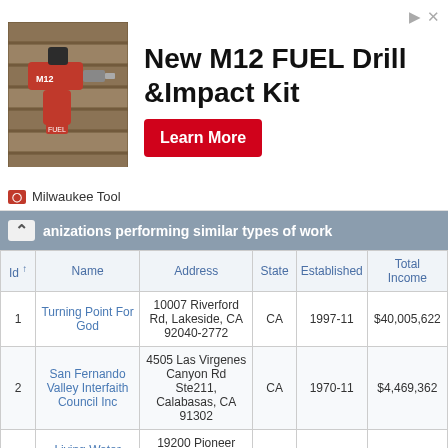[Figure (illustration): Advertisement banner for Milwaukee Tool New M12 FUEL Drill & Impact Kit with Learn More button]
organizations performing similar types of work
| Id ↑ | Name | Address | State | Established | Total Income |
| --- | --- | --- | --- | --- | --- |
| 1 | Turning Point For God | 10007 Riverford Rd, Lakeside, CA 92040-2772 | CA | 1997-11 | $40,005,622 |
| 2 | San Fernando Valley Interfaith Council Inc | 4505 Las Virgenes Canyon Rd Ste211, Calabasas, CA 91302 | CA | 1970-11 | $4,469,362 |
| 3 | Living Water Mission Church | 19200 Pioneer Blvd, Cerritos, CA 90703-6605 | CA | 1997-01 | $1,640,022 |
| 4 | Greater Lighthouse Community Outreach Inc | 101 Union Ave, Bakersfield, CA 93307-1550 | CA | 1998-07 | $340,798 |
| 5 | Trinity Broadcasting Of Oklahoma City Inc | 2442 Michelle Dr, Tustin, CA 92780- | CA | 1978-01 | $1,503,840 |